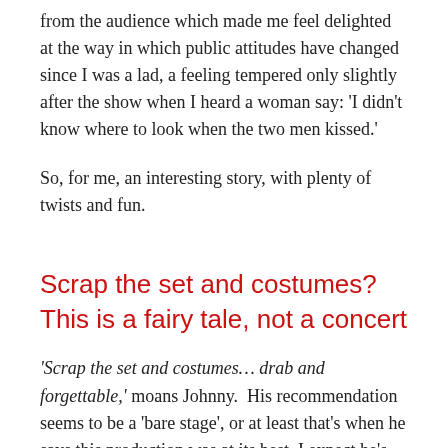from the audience which made me feel delighted at the way in which public attitudes have changed since I was a lad, a feeling tempered only slightly after the show when I heard a woman say: 'I didn't know where to look when the two men kissed.'
So, for me, an interesting story, with plenty of twists and fun.
Scrap the set and costumes? This is a fairy tale, not a concert
'Scrap the set and costumes… drab and forgettable,' moans Johnny.  His recommendation seems to be a 'bare stage', or at least that's when he says this production was at its best. I expect he's looking forward to the concert version. There is a short time when the stage is